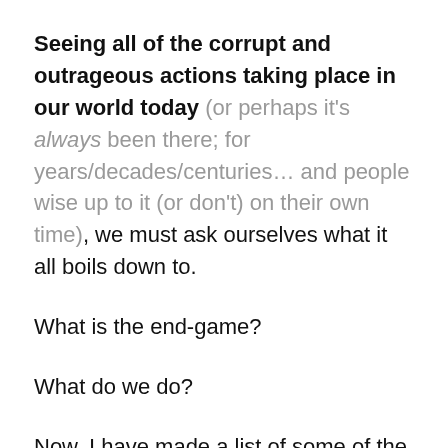Seeing all of the corrupt and outrageous actions taking place in our world today (or perhaps it's always been there; for years/decades/centuries… and people wise up to it (or don't) on their own time), we must ask ourselves what it all boils down to.
What is the end-game?
What do we do?
Now, I have made a list of some of the possible routes that people/individuals/humanity can go down. Assessing all of these paths, ultimately it culminates into TWO paths that one can choose